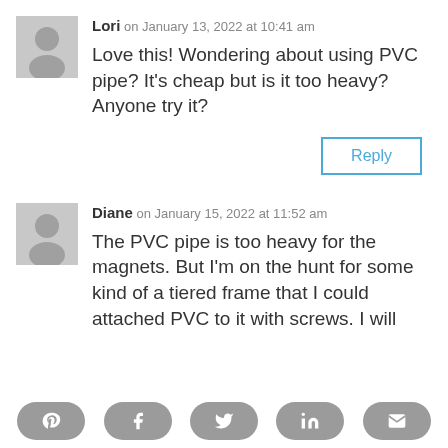Lori on January 13, 2022 at 10:41 am
Love this! Wondering about using PVC pipe? It's cheap but is it too heavy?
Anyone try it?
Reply
Diane on January 15, 2022 at 11:52 am
The PVC pipe is too heavy for the magnets. But I'm on the hunt for some kind of a tiered frame that I could attached PVC to it with screws. I will